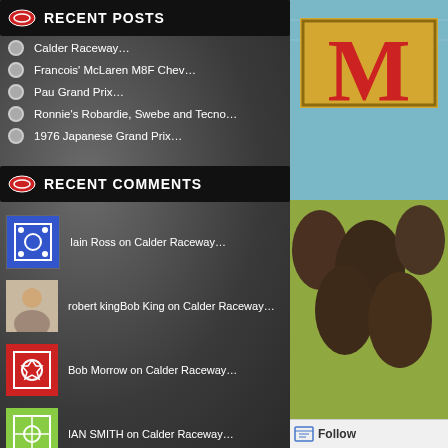RECENT POSTS
Calder Raceway…
Francois' McLaren M8F Chev…
Pau Grand Prix…
Ronnie's Robardie, Swebe and Tecno…
1976 Japanese Grand Prix…
RECENT COMMENTS
Iain Ross on Calder Raceway…
robert kingBob King on Calder Raceway…
Bob Morrow on Calder Raceway…
IAN SMITH on Calder Raceway…
markbisset on Calder Raceway…
[Figure (illustration): Book cover showing large red letter M on yellow/gold background with blue sky and dark trees below]
Follow